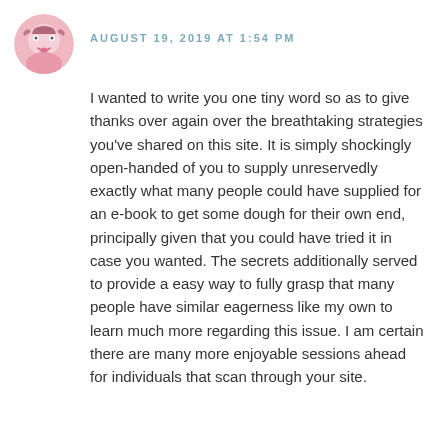[Figure (photo): Circular avatar image of a cartoon/illustrated face with pink/purple tones, tongue sticking out slightly]
AUGUST 19, 2019 AT 1:54 PM
I wanted to write you one tiny word so as to give thanks over again over the breathtaking strategies you've shared on this site. It is simply shockingly open-handed of you to supply unreservedly exactly what many people could have supplied for an e-book to get some dough for their own end, principally given that you could have tried it in case you wanted. The secrets additionally served to provide a easy way to fully grasp that many people have similar eagerness like my own to learn much more regarding this issue. I am certain there are many more enjoyable sessions ahead for individuals that scan through your site.